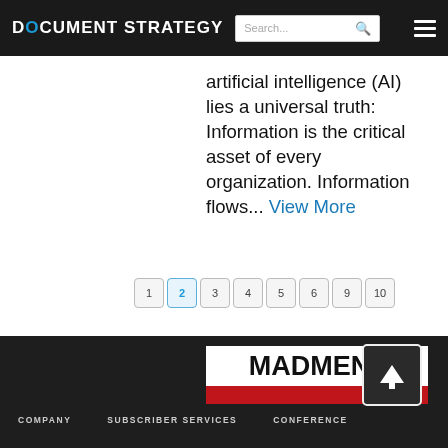DOCUMENT STRATEGY
artificial intelligence (AI) lies a universal truth: Information is the critical asset of every organization. Information flows... View More
1 2 3 4 5 6 9 10
[Figure (logo): MADMEN3 MM3 logo — white background with black bold text 'MADMEN3' and a red bar beneath with 'MM3' in white]
COMPANY   SUBSCRIBER SERVICES   CONFERENCE